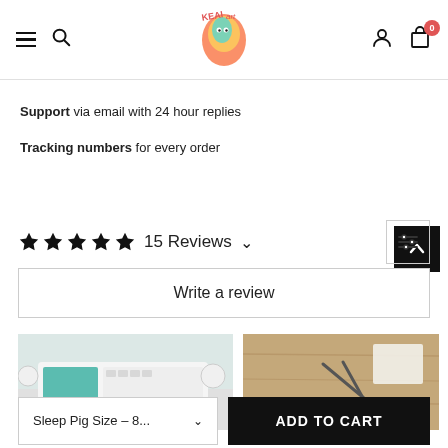KEAI art — navigation header with hamburger, search, logo, user icon, cart (0)
Support via email with 24 hour replies
Tracking numbers for every order
★★★★★ 15 Reviews ∨
Write a review
[Figure (photo): Photo of a mechanical keyboard with teal and white keycaps on a desk]
[Figure (photo): Photo showing scissors and paper on a wooden surface]
Sleep Pig Size – 8...
ADD TO CART